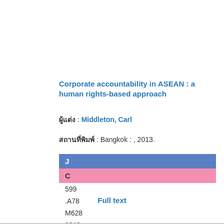Corporate accountability in ASEAN : a human rights-based approach
ผู้แต่ง : Middleton, Carl
สถานที่พิมพ์ : Bangkok : , 2013.
| J |
| C |
| 599 |
| .A78 |
| M628 |
| 2013 |
Full text